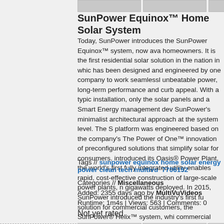[Figure (photo): Three partially visible thumbnail images at the top of the page]
SunPower Equinox™ Home Solar System
Today, SunPower introduces the SunPower Equinox™ system, now ava homeowners. It is the first residential solar solution in the nation in whic has been designed and engineered by one company to work seamlessl unbeatable power, long-term performance and curb appeal. With a typic installation, only the solar panels and a Smart Energy management dev SunPower's minimalist architectural approach at the system level. The S platform was engineered based on the company's The Power of One™ innovation of preconfigured solutions that simplify solar for consumers. introduced its Oasis® Power Plant, the world's first fully integrated utility enables rapid, cost-effective construction of large-scale power plants, n gigawatts deployed. In 2015, SunPower introduced the industry's first fu solution for commercial customers, the SunPower® Helix™ system, whi commercial rooftops more than 2.5 times faster than any commercial so market. Now, the SunPower Equinox™ system brings The Power of On view the multimedia release go to: http://www.multivu.com/players/Engli reinvents-home-solar-equinox/
Tags // sunpower equinox home solar energy power clean tech multivu 7706152
Categories // Miscellaneous
Added: 2355 days ago by MultiVuVideos
Runtime: 1m4s | Views: 563 | Comments: 0
Not yet rated
[Figure (photo): Three thumbnail image placeholders at the bottom of the page]